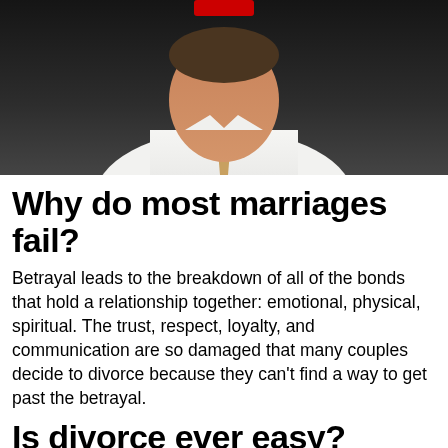[Figure (photo): Man in white shirt and gold/tan tie speaking, dark background, partial view of face and torso, red logo element visible at top]
Why do most marriages fail?
Betrayal leads to the breakdown of all of the bonds that hold a relationship together: emotional, physical, spiritual. The trust, respect, loyalty, and communication are so damaged that many couples decide to divorce because they can’t find a way to get past the betrayal.
Is divorce ever easy?
The divorce process does not have to take years or even months... The easiest type of